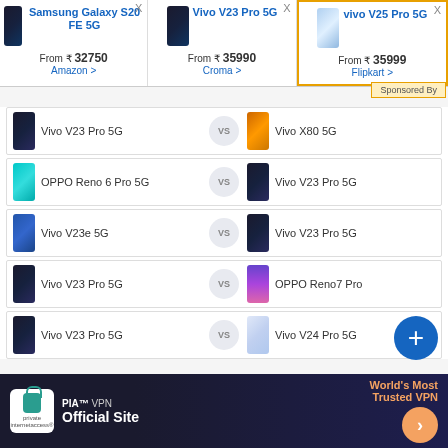[Figure (screenshot): Product comparison card for Samsung Galaxy S20 FE 5G showing phone image, price From ₹32750, Amazon link]
[Figure (screenshot): Product comparison card for Vivo V23 Pro 5G showing phone image, price From ₹35990, Croma link]
[Figure (screenshot): Sponsored product comparison card for vivo V25 Pro 5G showing phone image, price From ₹35999, Flipkart link, highlighted with orange border]
Sponsored By
[Figure (screenshot): Comparison row: Vivo V23 Pro 5G vs Vivo X80 5G]
[Figure (screenshot): Comparison row: OPPO Reno 6 Pro 5G vs Vivo V23 Pro 5G]
[Figure (screenshot): Comparison row: Vivo V23e 5G vs Vivo V23 Pro 5G]
[Figure (screenshot): Comparison row: Vivo V23 Pro 5G vs OPPO Reno7 Pro]
[Figure (screenshot): Comparison row: Vivo V23 Pro 5G vs Vivo V24 Pro 5G]
[Figure (screenshot): Advertisement banner for PIA VPN - World's Most Trusted VPN]